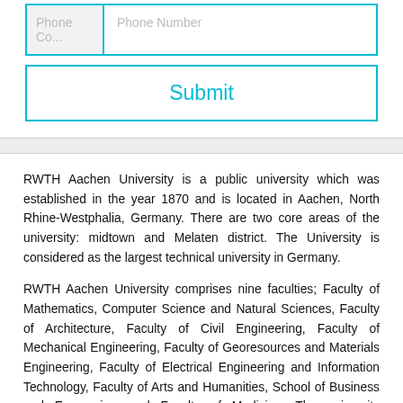[Figure (other): Form section with Phone Code and Phone Number input fields followed by a Submit button with cyan border]
RWTH Aachen University is a public university which was established in the year 1870 and is located in Aachen, North Rhine-Westphalia, Germany. There are two core areas of the university: midtown and Melaten district. The University is considered as the largest technical university in Germany.
RWTH Aachen University comprises nine faculties; Faculty of Mathematics, Computer Science and Natural Sciences, Faculty of Architecture, Faculty of Civil Engineering, Faculty of Mechanical Engineering, Faculty of Georesources and Materials Engineering, Faculty of Electrical Engineering and Information Technology, Faculty of Arts and Humanities, School of Business and Economics, and Faculty of Medicine. The university cooperates with the Fraunhofer-Institutes situated in the Melaten district of Aachen. The university...